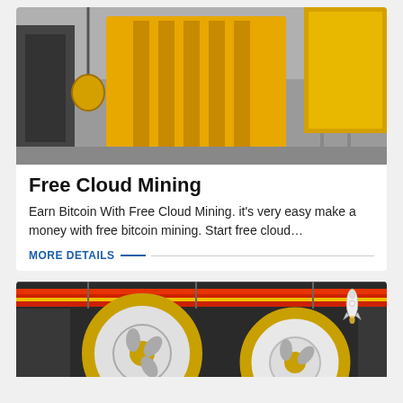[Figure (photo): Yellow industrial jaw crusher machine in a factory/warehouse setting]
Free Cloud Mining
Earn Bitcoin With Free Cloud Mining. it's very easy make a money with free bitcoin mining. Start free cloud…
MORE DETAILS
[Figure (photo): Industrial machinery with large yellow-rimmed flywheels in a factory, with a rocket illustration overlay in the top right]